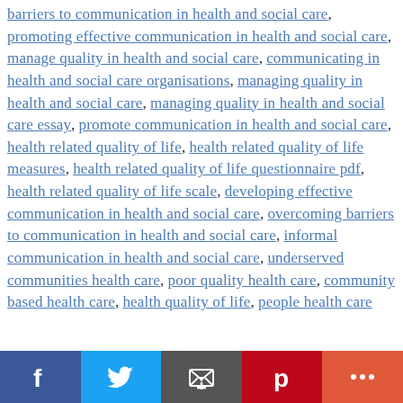barriers to communication in health and social care, promoting effective communication in health and social care, manage quality in health and social care, communicating in health and social care organisations, managing quality in health and social care, managing quality in health and social care essay, promote communication in health and social care, health related quality of life, health related quality of life measures, health related quality of life questionnaire pdf, health related quality of life scale, developing effective communication in health and social care, overcoming barriers to communication in health and social care, informal communication in health and social care, underserved communities health care, poor quality health care, community based health care, health quality of life, people health care
Social share bar: Facebook, Twitter, Email, Pinterest, More